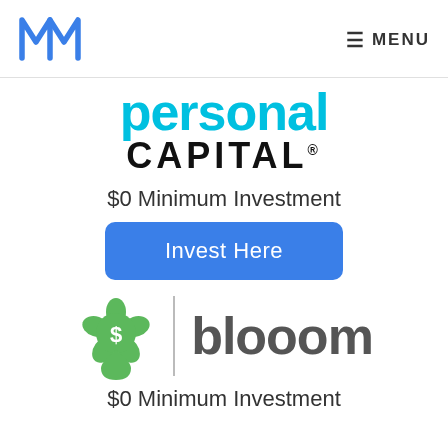M logo | MENU
[Figure (logo): Personal Capital logo with 'personal' in cyan and 'CAPITAL' in black bold]
$0 Minimum Investment
[Figure (other): Blue 'Invest Here' button]
[Figure (logo): Blooom logo with green droplet/flower icon and 'blooom' in gray text]
$0 Minimum Investment